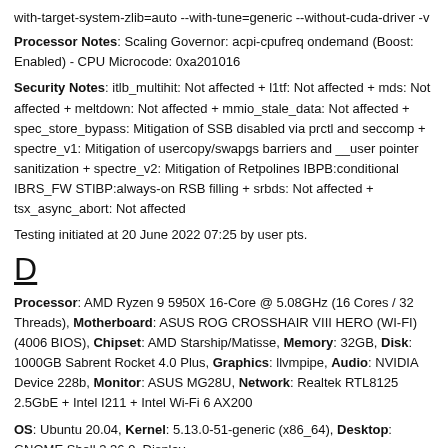--with-target-system-zlib=auto --with-tune=generic --without-cuda-driver -v
Processor Notes: Scaling Governor: acpi-cpufreq ondemand (Boost: Enabled) - CPU Microcode: 0xa201016
Security Notes: itlb_multihit: Not affected + l1tf: Not affected + mds: Not affected + meltdown: Not affected + mmio_stale_data: Not affected + spec_store_bypass: Mitigation of SSB disabled via prctl and seccomp + spectre_v1: Mitigation of usercopy/swapgs barriers and __user pointer sanitization + spectre_v2: Mitigation of Retpolines IBPB:conditional IBRS_FW STIBP:always-on RSB filling + srbds: Not affected + tsx_async_abort: Not affected
Testing initiated at 20 June 2022 07:25 by user pts.
D
Processor: AMD Ryzen 9 5950X 16-Core @ 5.08GHz (16 Cores / 32 Threads), Motherboard: ASUS ROG CROSSHAIR VIII HERO (WI-FI) (4006 BIOS), Chipset: AMD Starship/Matisse, Memory: 32GB, Disk: 1000GB Sabrent Rocket 4.0 Plus, Graphics: llvmpipe, Audio: NVIDIA Device 228b, Monitor: ASUS MG28U, Network: Realtek RTL8125 2.5GbE + Intel I211 + Intel Wi-Fi 6 AX200
OS: Ubuntu 20.04, Kernel: 5.13.0-51-generic (x86_64), Desktop: GNOME Shell 3.36.9, Display